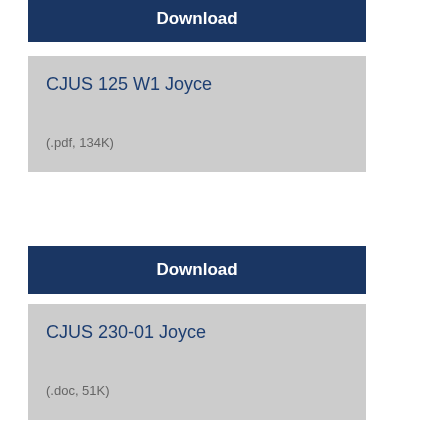Download
CJUS 125 W1 Joyce
(.pdf, 134K)
Download
CJUS 230-01 Joyce
(.doc, 51K)
Download
MacDonald CJUS 105-01 Fall 2015
(.doc, 108K)
Download